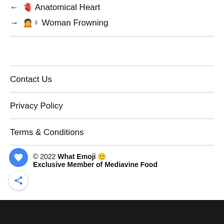← 🫀 Anatomical Heart
→ 🙍♀ Woman Frowning
Contact Us
Privacy Policy
Terms & Conditions
© 2022 What Emoji 🙂
Exclusive Member of Mediavine Food